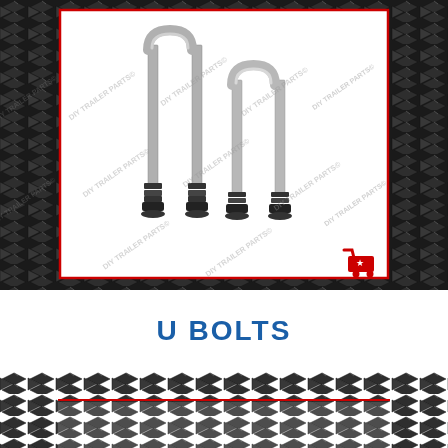[Figure (photo): Product photo of U bolts (two U-shaped metal bolts with nuts) displayed on white background with red border, set against a dark diamond plate metal background. DIY TRAILER PARTS watermark visible. Red shopping cart icon in bottom right corner of product box.]
U BOLTS
[Figure (photo): Partial view of another product image with dark diamond plate background, partially cropped at bottom of page.]